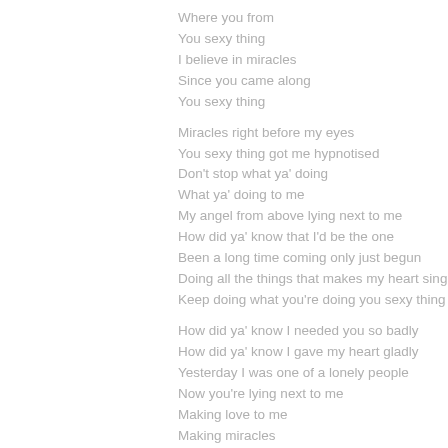Where you from
You sexy thing
I believe in miracles
Since you came along
You sexy thing
Miracles right before my eyes
You sexy thing got me hypnotised
Don't stop what ya' doing
What ya' doing to me
My angel from above lying next to me
How did ya' know that I'd be the one
Been a long time coming only just begun
Doing all the things that makes my heart sing
Keep doing what you're doing you sexy thing
How did ya' know I needed you so badly
How did ya' know I gave my heart gladly
Yesterday I was one of a lonely people
Now you're lying next to me
Making love to me
Making miracles